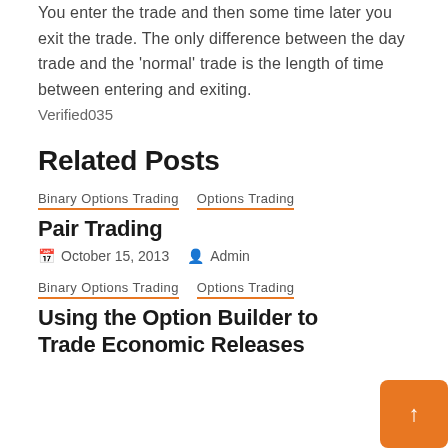You enter the trade and then some time later you exit the trade. The only difference between the day trade and the 'normal' trade is the length of time between entering and exiting.
Verified035
Related Posts
Binary Options Trading   Options Trading
Pair Trading
October 15, 2013   Admin
Binary Options Trading   Options Trading
Using the Option Builder to Trade Economic Releases